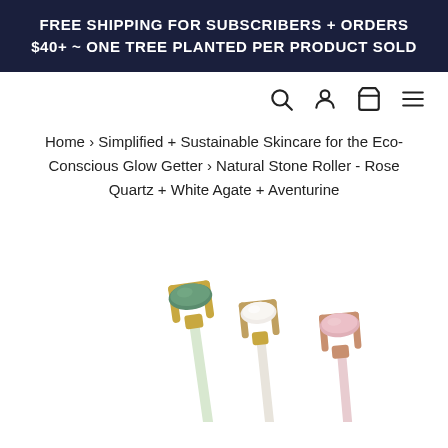FREE SHIPPING FOR SUBSCRIBERS + ORDERS $40+ ~ ONE TREE PLANTED PER PRODUCT SOLD
Home › Simplified + Sustainable Skincare for the Eco-Conscious Glow Getter › Natural Stone Roller - Rose Quartz + White Agate + Aventurine
[Figure (photo): Three natural stone face rollers arranged side by side: an aventurine (green) roller with gold hardware, a white agate roller with gold/rose gold hardware, and a rose quartz (pink) roller with rose gold hardware.]